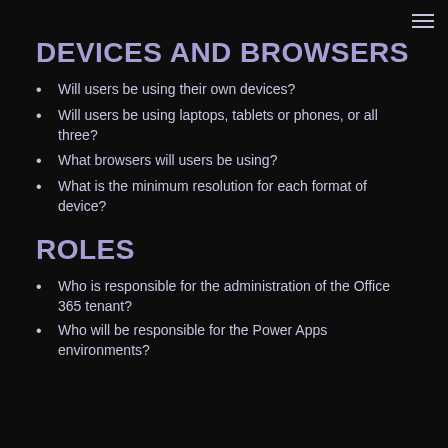DEVICES AND BROWSERS
Will users be using their own devices?
Will users be using laptops, tablets or phones, or all three?
What browsers will users be using?
What is the minimum resolution for each format of device?
ROLES
Who is responsible for the administration of the Office 365 tenant?
Who will be responsible for the Power Apps environments?